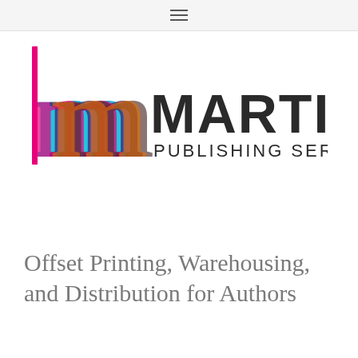≡
[Figure (logo): Martin Publishing Services logo: colorful overlapping 'm' letters in cyan, dark purple, magenta, brown/dark, orange/yellow, with text 'MARTIN PUBLISHING SERVICES' in dark gray/black sans-serif to the right]
Offset Printing, Warehousing, and Distribution for Authors